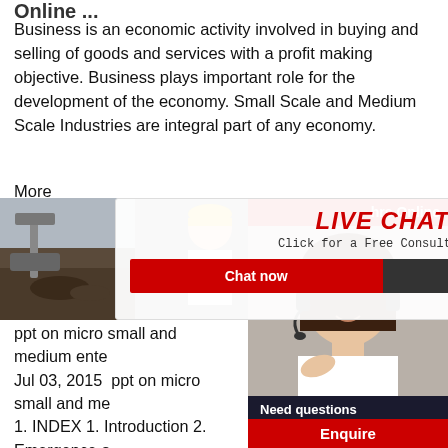Online ...
Business is an economic activity involved in buying and selling of goods and services with a profit making objective. Business plays important role for the development of the economy. Small Scale and Medium Scale Industries are integral part of any economy.
More
[Figure (photo): Construction site with excavator and workers wearing yellow hard hats; woman in white shirt and yellow hard hat smiling in foreground]
[Figure (screenshot): Live Chat popup overlay with red 'LIVE CHAT' title, 'Click for a Free Consultation' subtitle, and Chat now / Chat later buttons]
[Figure (photo): Customer service representative wearing headset smiling, with '24 hrs Online' red banner]
ppt on micro small and medium ente
Jul 03, 2015  ppt on micro small and me
1. INDEX 1. Introduction 2. Emergence o
Overview of types 4. Types of MSME (mi
medium) 5. Characteristics 6. Role of MS
8. Suggestions 9. Contributions 10. Bar d
11. MSME clips from all
[Figure (infographic): Need questions & suggestion? Chat Now button panel with dark background]
Enquire